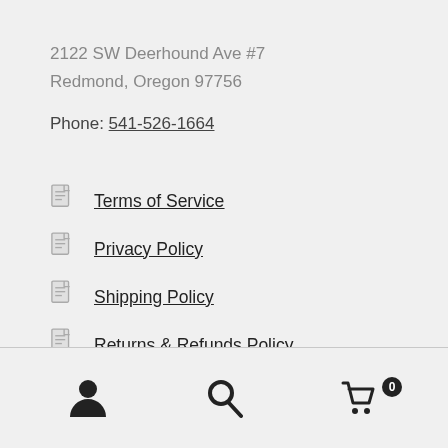2122 SW Deerhound Ave #7
Redmond, Oregon 97756
Phone: 541-526-1664
Terms of Service
Privacy Policy
Shipping Policy
Returns & Refunds Policy
Contact Us
User icon, Search icon, Cart icon with badge 0